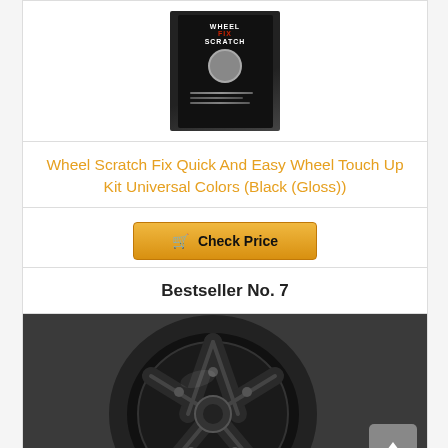[Figure (photo): Product box of Wheel Scratch Fix touch up kit on white background]
Wheel Scratch Fix Quick And Easy Wheel Touch Up Kit Universal Colors (Black (Gloss))
Check Price
Bestseller No. 7
[Figure (photo): Close-up photo of a shiny black car wheel/rim with tire on road surface]